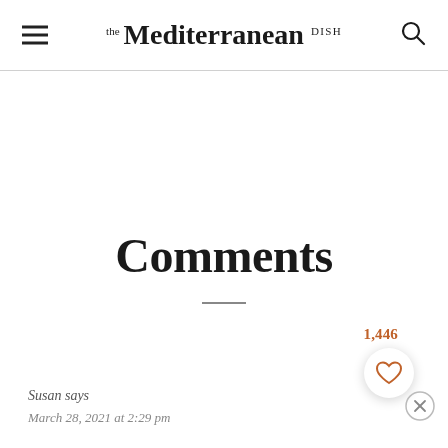THE Mediterranean DISH
Comments
1,446
Susan says
March 28, 2021 at 2:29 pm